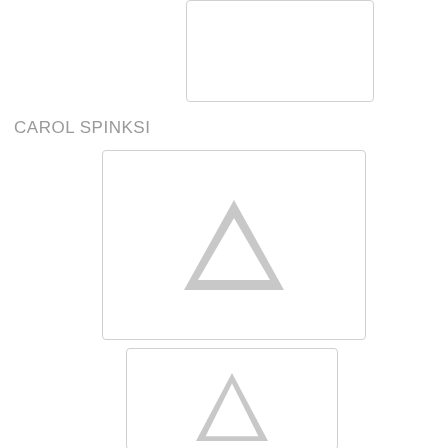[Figure (other): Partial white rectangle with light gray border at top center of page, contents not visible]
CAROL SPINKSI
[Figure (other): White rectangle with light gray border containing a gray warning/alert triangle icon with exclamation mark]
[Figure (other): White rectangle with light gray border, partially cut off at bottom of page, contains partially visible gray warning triangle icon]